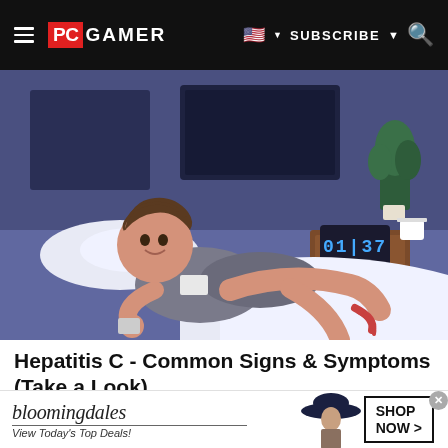PC GAMER — SUBSCRIBE
[Figure (illustration): Illustration of a young man lying awake in bed at night, looking unwell. He is in a bedroom with a nightstand showing a digital clock reading 01:37, a bedside plant, and a TV on the wall in the background. The art style is flat vector illustration with blue/purple tones.]
Hepatitis C - Common Signs & Symptoms (Take a Look)
[Figure (photo): Bloomingdale's advertisement banner. Shows the bloomingdales logo with tagline 'View Today's Top Deals!' on the left, a woman in a wide brim hat in the center, and a 'SHOP NOW >' button on the right.]